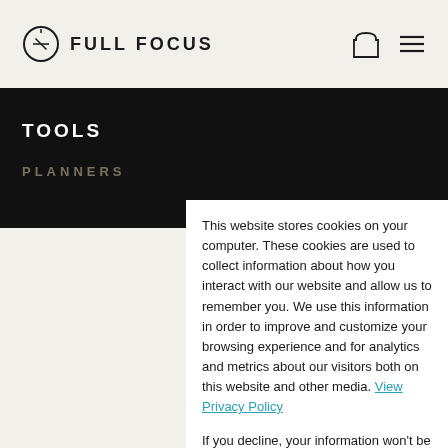FULL FOCUS
TOOLS
PLANNERS
This website stores cookies on your computer. These cookies are used to collect information about how you interact with our website and allow us to remember you. We use this information in order to improve and customize your browsing experience and for analytics and metrics about our visitors both on this website and other media. View Privacy Policy
If you decline, your information won't be tracked when you visit this website. A single cookie will be used in your browser to remember your preference not to be tracked.